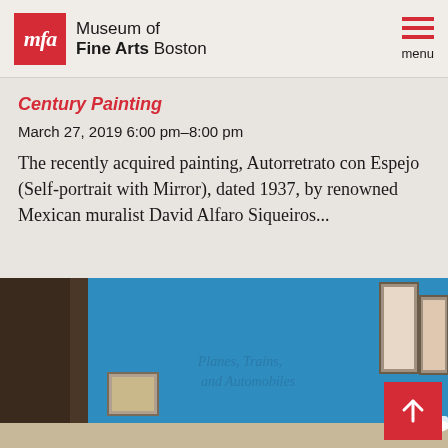Museum of Fine Arts Boston
Century Painting
March 27, 2019 6:00 pm–8:00 pm
The recently acquired painting, Autorretrato con Espejo (Self-portrait with Mirror), dated 1937, by renowned Mexican muralist David Alfaro Siqueiros...
[Figure (photo): Museum gallery interior with blue walls displaying artwork, showing exhibition titled 'Planes, Trains, and Automobiles']